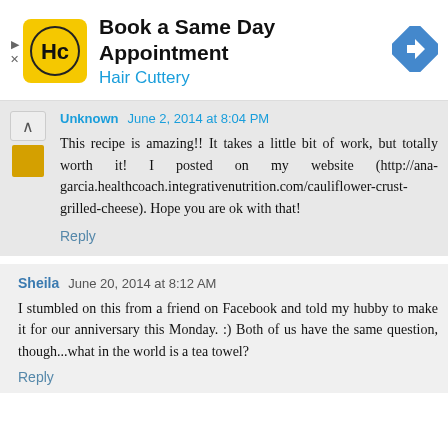[Figure (other): Hair Cuttery advertisement banner: 'Book a Same Day Appointment' with HC logo and blue arrow icon]
Unknown June 2, 2014 at 8:04 PM
This recipe is amazing!! It takes a little bit of work, but totally worth it! I posted on my website (http://ana-garcia.healthcoach.integrativenutrition.com/cauliflower-crust-grilled-cheese). Hope you are ok with that!
Reply
Sheila June 20, 2014 at 8:12 AM
I stumbled on this from a friend on Facebook and told my hubby to make it for our anniversary this Monday. :) Both of us have the same question, though...what in the world is a tea towel?
Reply